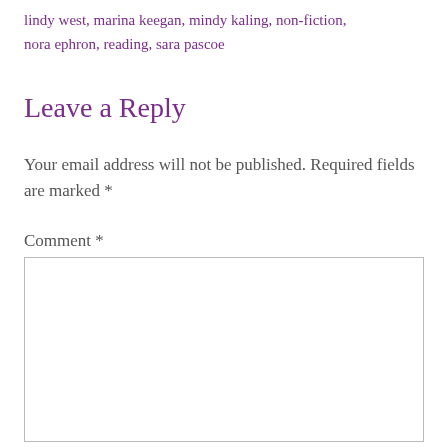lindy west, marina keegan, mindy kaling, non-fiction, nora ephron, reading, sara pascoe
Leave a Reply
Your email address will not be published. Required fields are marked *
Comment *